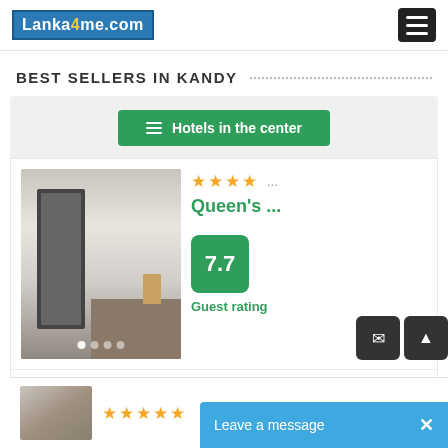Lanka4me.com — navigation header with hamburger menu
BEST SELLERS IN KANDY
[Figure (screenshot): Hotel listing card for Queen's hotel in Kandy. Shows 4 stars, rating 7.7, price $42 crossed out with -11% discount badge, new price $38 per night, green VIEW HOTEL button. Filter button 'Hotels in the center' at top.]
[Figure (screenshot): Partial preview of next hotel card at bottom with orange stars visible]